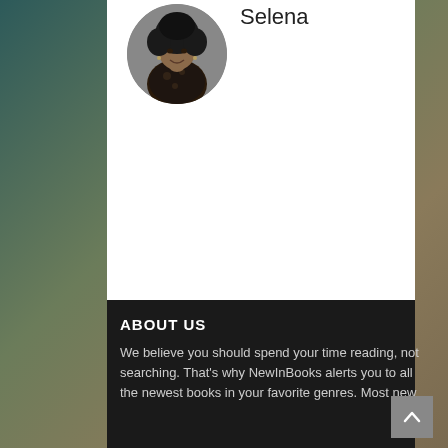[Figure (photo): Circular profile photo of a woman named Selena with natural afro hair, wearing a dark floral outfit, smiling]
Selena
ABOUT US
We believe you should spend your time reading, not searching. That's why NewInBooks alerts you to all the newest books in your favorite genres. Most new